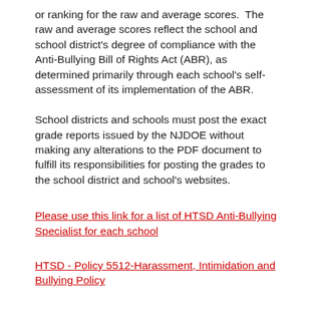or ranking for the raw and average scores.  The raw and average scores reflect the school and school district's degree of compliance with the Anti-Bullying Bill of Rights Act (ABR), as determined primarily through each school's self-assessment of its implementation of the ABR.
School districts and schools must post the exact grade reports issued by the NJDOE without making any alterations to the PDF document to fulfill its responsibilities for posting the grades to the school district and school's websites.
Please use this link for a list of HTSD Anti-Bullying Specialist for each school
HTSD - Policy 5512-Harassment, Intimidation and Bullying Policy